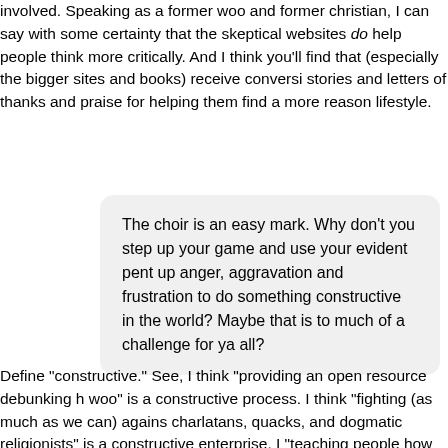involved. Speaking as a former woo and former christian, I can say with some certainty that the skeptical websites do help people think more critically. And I think you'll find that (especially the bigger sites and books) receive conversion stories and letters of thanks and praise for helping them find a more reasonable lifestyle.
The choir is an easy mark. Why don't you step up your game and use your evident pent up anger, aggravation and frustration to do something constructive in the world? Maybe that is to much of a challenge for ya all?
Define "constructive." See, I think "providing an open resource debunking harmful woo" is a constructive process. I think "fighting (as much as we can) against charlatans, quacks, and dogmatic religionists" is a constructive enterprise. I think "teaching people how to use logic and think critically and scientifically" is incredibly constructive. So, what's your definition of the term?
How different from Hitler's basic philosophy are some of you who feel its your duty to save the world from the woos, christians or whoever?
Um...our philosophy is dialogue and education, Hitler's was extermination. That's a pretty big difference. Plus, we can actually demonstrate, with facts and fig